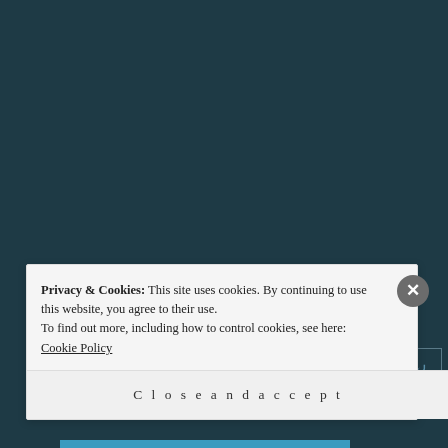SJ. Hamilton on What do YOU see when you look...
What are your Goals?... on What are your Goals?
ARCHIVES
Select Month
Privacy & Cookies: This site uses cookies. By continuing to use this website, you agree to their use. To find out more, including how to control cookies, see here: Cookie Policy
Close and accept